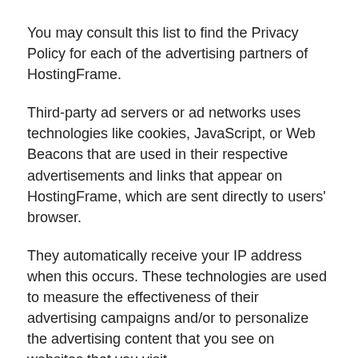You may consult this list to find the Privacy Policy for each of the advertising partners of HostingFrame.
Third-party ad servers or ad networks uses technologies like cookies, JavaScript, or Web Beacons that are used in their respective advertisements and links that appear on HostingFrame, which are sent directly to users' browser.
They automatically receive your IP address when this occurs. These technologies are used to measure the effectiveness of their advertising campaigns and/or to personalize the advertising content that you see on websites that you visit.
Note that HostingFrame has no access to or control over these cookies that are used by third-party